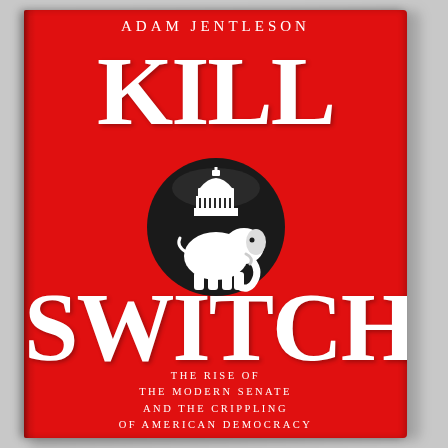ADAM JENTLESON
KILL SWITCH
[Figure (illustration): Black circular button/badge featuring a white Republican elephant with the US Capitol dome on top, on a red book cover background.]
THE RISE OF THE MODERN SENATE AND THE CRIPPLING OF AMERICAN DEMOCRACY